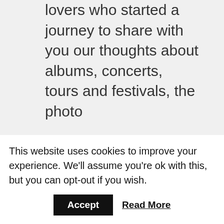lovers who started a journey to share with you our thoughts about albums, concerts, tours and festivals, the photo
This website uses cookies to improve your experience. We'll assume you're ok with this, but you can opt-out if you wish.
Accept
Read More